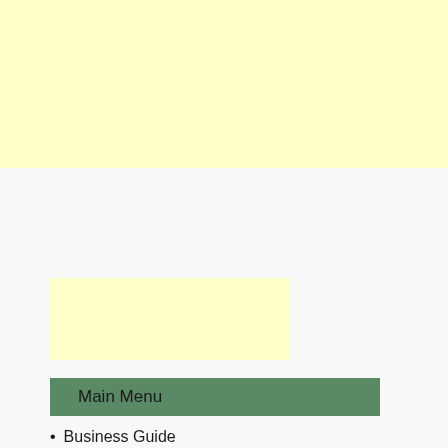[Figure (other): Large light yellow rectangular banner area at the top of the page]
[Figure (other): Smaller light yellow rectangular box in the middle-left area of the white section]
Main Menu
Business Guide